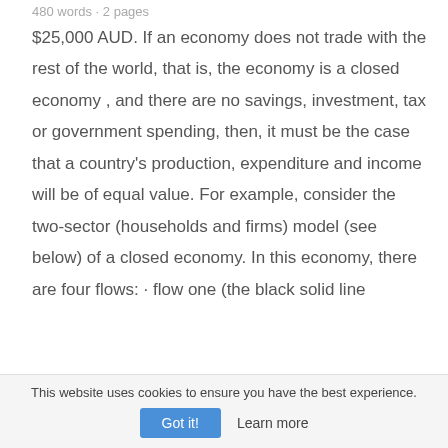480 words · 2 pages
$25,000 AUD. If an economy does not trade with the rest of the world, that is, the economy is a closed economy , and there are no savings, investment, tax or government spending, then, it must be the case that a country's production, expenditure and income will be of equal value. For example, consider the two-sector (households and firms) model (see below) of a closed economy. In this economy, there are four flows: · flow one (the black solid line
This website uses cookies to ensure you have the best experience.
Got it!    Learn more